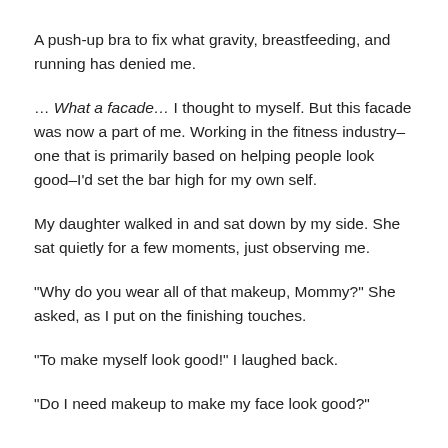A push-up bra to fix what gravity, breastfeeding, and running has denied me.
… What a facade… I thought to myself. But this facade was now a part of me. Working in the fitness industry– one that is primarily based on helping people look good–I'd set the bar high for my own self.
My daughter walked in and sat down by my side. She sat quietly for a few moments, just observing me.
“Why do you wear all of that makeup, Mommy?” She asked, as I put on the finishing touches.
“To make myself look good!” I laughed back.
“Do I need makeup to make my face look good?”